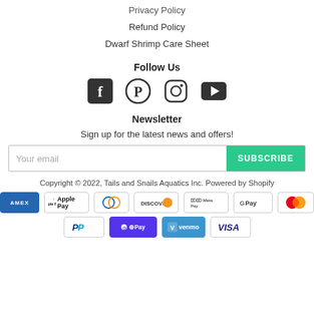Privacy Policy
Refund Policy
Dwarf Shrimp Care Sheet
Follow Us
[Figure (infographic): Row of social media icons: Facebook, Pinterest, Instagram, YouTube]
Newsletter
Sign up for the latest news and offers!
Your email [input] SUBSCRIBE [button]
Copyright © 2022, Tails and Snails Aquatics Inc. Powered by Shopify
[Figure (infographic): Payment method icons: American Express, Apple Pay, Diners Club, Discover, Meta Pay, Google Pay, Mastercard, PayPal, Shop Pay, Venmo, Visa]